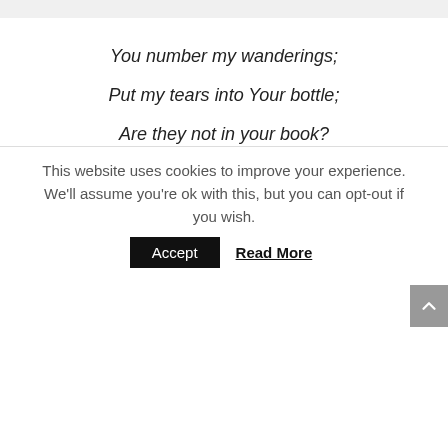You number my wanderings;
Put my tears into Your bottle;
Are they not in your book?
~Psalm 56:8~
Charles Spurgeon says of this verse,
“We perhaps are so confused after a long
This website uses cookies to improve your experience. We'll assume you're ok with this, but you can opt-out if you wish.
Accept
Read More